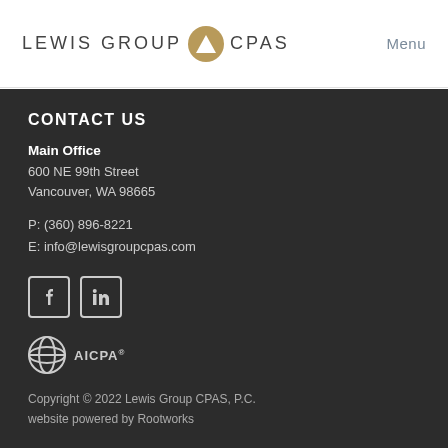[Figure (logo): Lewis Group CPAS logo with a gold circle containing a triangle icon, and 'Menu' navigation link on the right]
CONTACT US
Main Office
600 NE 99th Street
Vancouver, WA 98665
P:  (360) 896-8221
E:  info@lewisgroupcpas.com
[Figure (logo): Facebook and LinkedIn social media icons (white icons in square outlines)]
[Figure (logo): AICPA logo with globe icon]
Copyright © 2022 Lewis Group CPAS, P.C.
website powered by Rootworks